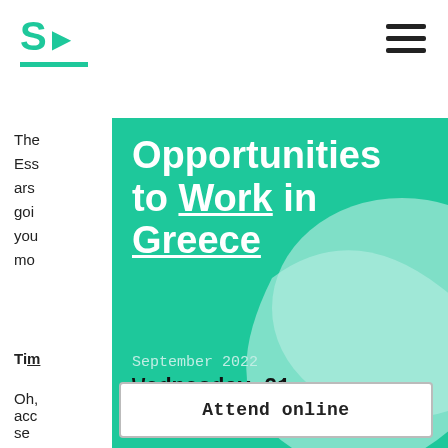S▶ [logo with teal underline] [hamburger menu]
Opportunities to Work in Greece
The Ess ars goi you mo
September 2022
Wednesday 21
7:00 PM - 9:00 PM (UTC)
Tim
Oh, acc se
Attend online